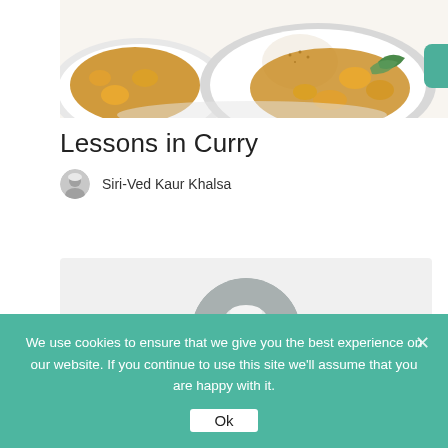[Figure (photo): Two white plates with curry dishes — one with rice mound and vegetable curry, one partially visible — on a white background]
Lessons in Curry
Siri-Ved Kaur Khalsa
[Figure (photo): Circular portrait photo of an older woman wearing a white turban, smiling, on a gray background]
We use cookies to ensure that we give you the best experience on our website. If you continue to use this site we'll assume that you are happy with it.
Ok